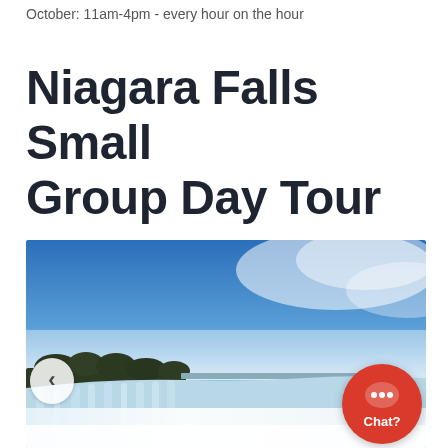October: 11am-4pm - every hour on the hour
Niagara Falls Small Group Day Tour
[Figure (photo): Aerial/panoramic view of Niagara Falls (Horseshoe Falls) with mist rising, blue sky above and dark tree-covered land visible in the background. A navigation arrow and chat button overlay the image.]